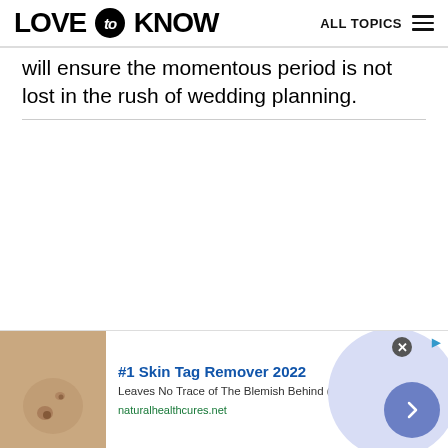LOVE to KNOW   ALL TOPICS
will ensure the momentous period is not lost in the rush of wedding planning.
[Figure (photo): Advertisement banner with skin tag remover product image, showing text '#1 Skin Tag Remover 2022', 'Leaves No Trace of The Blemish Behind (Not Even Scarring)', 'naturalhealthcures.net']